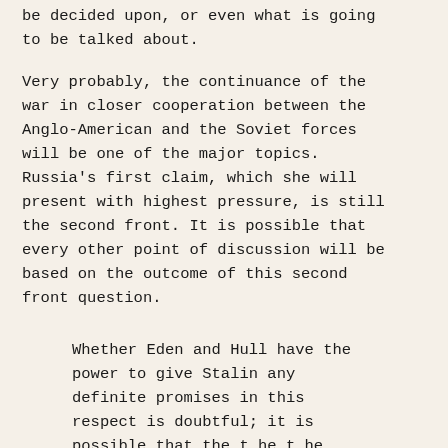be decided upon, or even what is going to be talked about.
Very probably, the continuance of the war in closer cooperation between the Anglo-American and the Soviet forces will be one of the major topics. Russia's first claim, which she will present with highest pressure, is still the second front. It is possible that every other point of discussion will be based on the outcome of this second front question.
Whether Eden and Hull have the power to give Stalin any definite promises in this respect is doubtful; it is possible that the the...